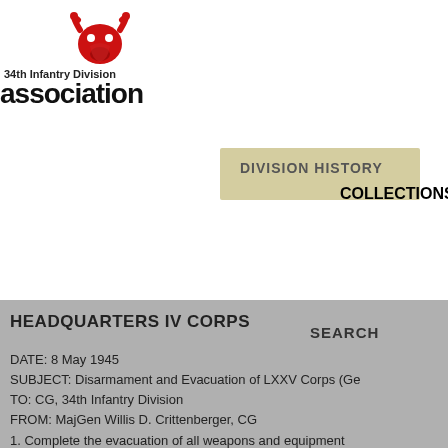[Figure (logo): 34th Infantry Division Association logo with red bull head icon]
ASSOCIATION    CHAPTERS
DIVISION HISTORY
COLLECTIONS
HEADQUARTERS IV CORPS    SEARCH
DATE: 8 May 1945
SUBJECT: Disarmament and Evacuation of LXXV Corps (Ge
TO: CG, 34th Infantry Division
FROM: MajGen Willis D. Crittenberger, CG
1. Complete the evacuation of all weapons and equipment
other facilities required for daily maintenance and admini
2. Establish close contact with division commander to the